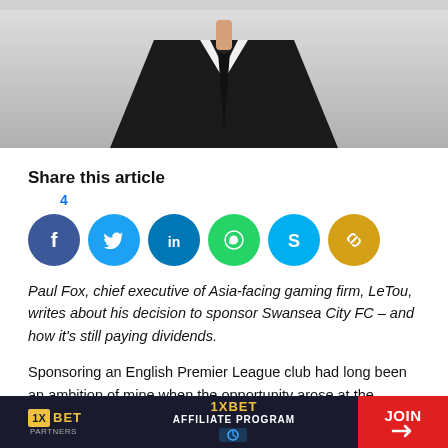[Figure (photo): Top portion of a person wearing a black suit, white shirt, and black tie against a light background. Only the torso/neck area is visible.]
Share this article
4
[Figure (infographic): Social media sharing icons in circles: Facebook (blue), Twitter (light blue), LinkedIn (dark blue), WhatsApp (green), Skype (light blue), Copy link (yellow/gold)]
Paul Fox, chief executive of Asia-facing gaming firm, LeTou, writes about his decision to sponsor Swansea City FC – and how it's still paying dividends.
Sponsoring an English Premier League club had long been an ambition of mine when the opportunity arose at the beginning
[Figure (infographic): 1XBET Partners affiliate program advertisement banner at the bottom of the page with JOIN button]